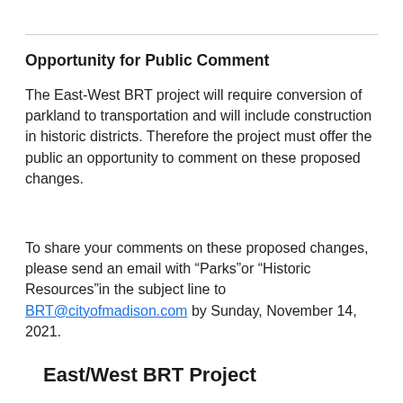Opportunity for Public Comment
The East-West BRT project will require conversion of parkland to transportation and will include construction in historic districts. Therefore the project must offer the public an opportunity to comment on these proposed changes.
To share your comments on these proposed changes, please send an email with “Parks”or “Historic Resources”in the subject line to BRT@cityofmadison.com by Sunday, November 14, 2021.
East/West BRT Project